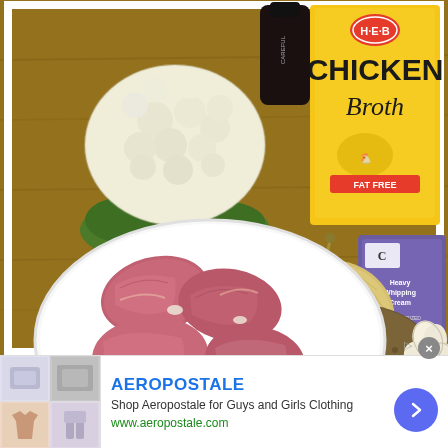[Figure (photo): Food ingredients photo on a wooden cutting board: a head of cauliflower, a box of H-E-B Chicken Broth (Fat Free, yellow carton), a dark bottle partially visible, an onion, a box of H-E-B Heavy Whipping Cream (purple/white carton), raw meat (pork or lamb chops) on a white plate, a large potato, and garlic cloves.]
[Figure (screenshot): Advertisement banner for Aeropostale showing clothing images on the left, brand name 'AEROPOSTALE' in blue bold text, tagline 'Shop Aeropostale for Guys and Girls Clothing', URL 'www.aeropostale.com' in green, a blue circular arrow navigation button on the right, and a gray close (X) button in the top-right corner. An ad indicator arrow is also visible.]